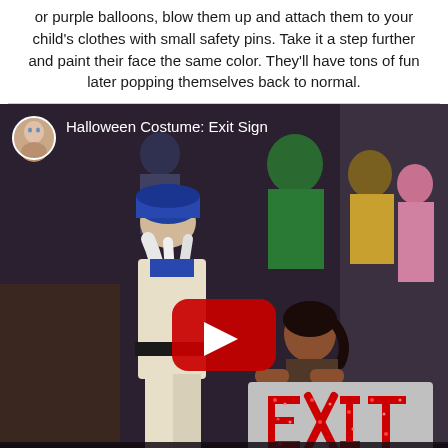This costume is easy and cheap. Buy 2 bags of either green or purple balloons, blow them up and attach them to your child's clothes with small safety pins. Take it a step further and paint their face the same color. They'll have tons of fun later popping themselves back to normal.
[Figure (screenshot): YouTube video embed showing Halloween Costume: Exit Sign. Children in Halloween costumes are visible in the background. A child holds a gray sign with 'EXIT' spelled in red sparkly letters. A YouTube play button overlay is centered on the image. A 'Watch on YouTube' bar appears at the bottom.]